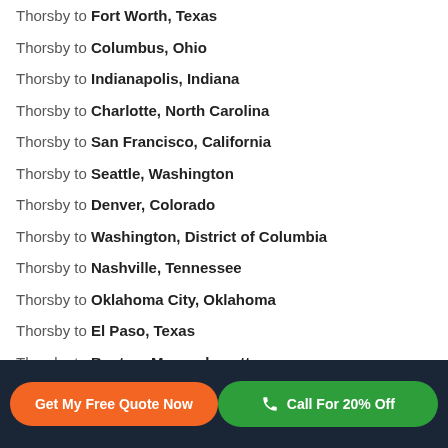Thorsby to Fort Worth, Texas
Thorsby to Columbus, Ohio
Thorsby to Indianapolis, Indiana
Thorsby to Charlotte, North Carolina
Thorsby to San Francisco, California
Thorsby to Seattle, Washington
Thorsby to Denver, Colorado
Thorsby to Washington, District of Columbia
Thorsby to Nashville, Tennessee
Thorsby to Oklahoma City, Oklahoma
Thorsby to El Paso, Texas
Thorsby to Boston, Massachusetts
Thorsby to Portland, Oregon
Thorsby to Las Vegas, Nevada (partial)
Get My Free Quote Now | Call For 20% Off